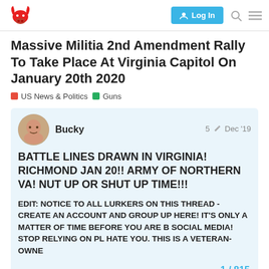Log In [nav bar with logo, login button, search, menu]
Massive Militia 2nd Amendment Rally To Take Place At Virginia Capitol On January 20th 2020
US News & Politics   Guns
Bucky   5 [edits]   Dec '19
BATTLE LINES DRAWN IN VIRGINIA! RICHMOND JAN 20!! ARMY OF NORTHERN VA! NUT UP OR SHUT UP TIME!!!
EDIT: NOTICE TO ALL LURKERS ON THIS THREAD - CREATE AN ACCOUNT AND GROUP UP HERE! IT'S ONLY A MATTER OF TIME BEFORE YOU ARE B SOCIAL MEDIA! STOP RELYING ON PL HATE YOU. THIS IS A VETERAN-OWNE
1 / 815